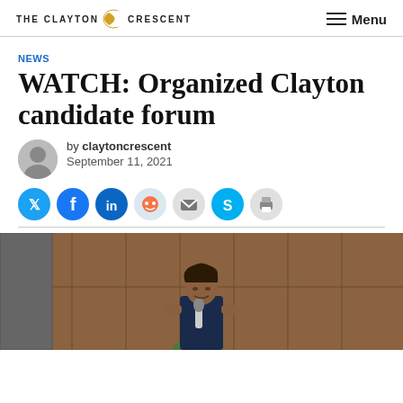THE CLAYTON CRESCENT | Menu
NEWS
WATCH: Organized Clayton candidate forum
by claytoncrescent
September 11, 2021
[Figure (photo): Social media sharing icons: Twitter, Facebook, LinkedIn, Reddit, Email, Skype, Print]
[Figure (photo): A woman speaking into a microphone at a candidate forum, standing in front of wood-paneled walls]